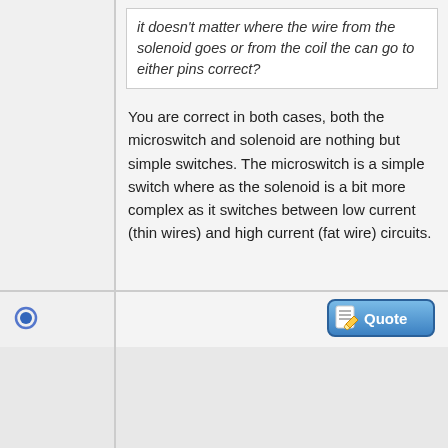it doesn't matter where the wire from the solenoid goes or from the coil the can go to either pins correct?
You are correct in both cases, both the microswitch and solenoid are nothing but simple switches. The microswitch is a simple switch where as the solenoid is a bit more complex as it switches between low current (thin wires) and high current (fat wire) circuits.
[Figure (other): Online status indicator icon (blue circle)]
[Figure (other): Quote button with pencil/paper icon]